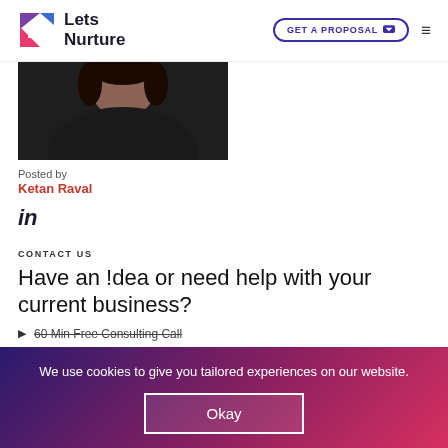Lets Nurture — GET A PROPOSAL
[Figure (photo): Cropped photo of a person wearing dark clothing, upper body and head visible]
Posted by
Ketan Raval
[Figure (logo): LinkedIn 'in' icon]
CONTACT US
Have an !dea or need help with your current business?
60 Min Free Consulting Call
We use cookies to give you tailored experiences on our website.
Okay